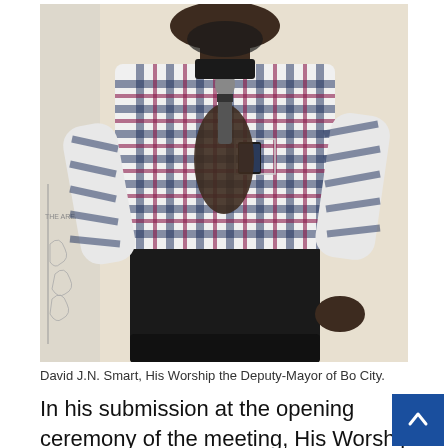[Figure (photo): A man wearing a plaid (blue, white, pink check) long-sleeve shirt holding a microphone, standing in front of a white wall with a partial map visible. He is wearing dark trousers.]
David J.N. Smart, His Worship the Deputy-Mayor of Bo City.
In his submission at the opening ceremony of the meeting, His Worship the Deputy-Mayor of Bo City,